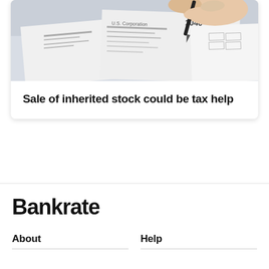[Figure (photo): A hand holding a pen filling out a U.S. 1040 tax form, with multiple IRS tax forms spread out on a table.]
Sale of inherited stock could be tax help
Bankrate
About
Help